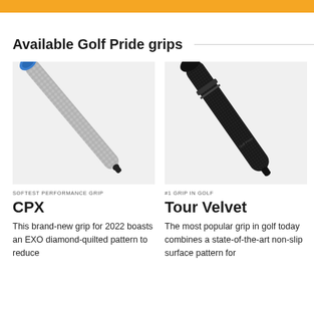Available Golf Pride grips
[Figure (photo): CPX golf grip — silver/grey with blue top cap and textured diamond-quilted pattern, diagonal orientation on light grey background]
SOFTEST PERFORMANCE GRIP
CPX
This brand-new grip for 2022 boasts an EXO diamond-quilted pattern to reduce
[Figure (photo): Tour Velvet golf grip — black with textured surface, Golf Pride logo visible, diagonal orientation on light grey background]
#1 GRIP IN GOLF
Tour Velvet
The most popular grip in golf today combines a state-of-the-art non-slip surface pattern for